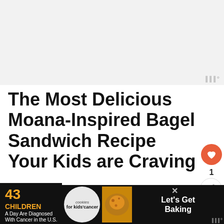[Figure (screenshot): Light gray advertisement placeholder banner at the top of the page with a watermark logo (III°) in the bottom right corner]
The Most Delicious Moana-Inspired Bagel Sandwich Recipe Your Kids are Craving
[Figure (photo): Broken image icon (small, bottom left of content area)]
[Figure (screenshot): Bottom advertisement banner: '43 CHILDREN A Day Are Diagnosed With Cancer in the U.S.' with cookies for kids' cancer logo and 'Let's Get Baking' text, with close X button]